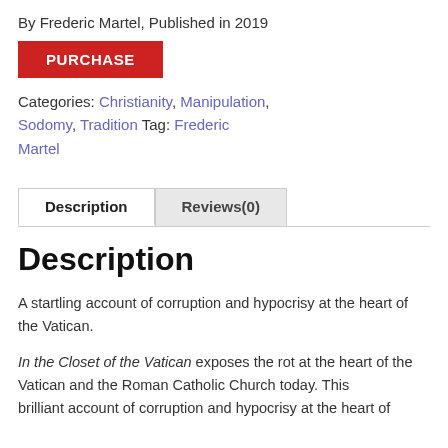By Frederic Martel, Published in 2019
PURCHASE
Categories: Christianity, Manipulation, Sodomy, Tradition Tag: Frederic Martel
Description | Reviews(0)
Description
A startling account of corruption and hypocrisy at the heart of the Vatican.
In the Closet of the Vatican exposes the rot at the heart of the Vatican and the Roman Catholic Church today. This brilliant account of corruption and hypocrisy at the heart of